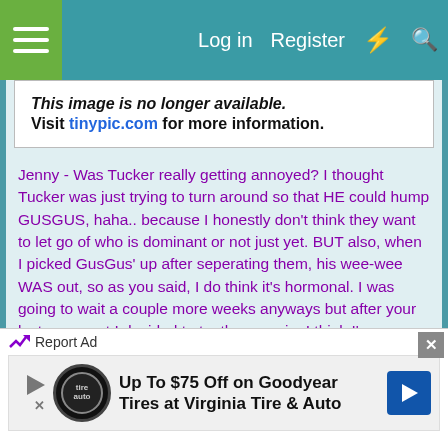Log in  Register
[Figure (screenshot): Broken image placeholder with text: 'This image is no longer available. Visit tinypic.com for more information.']
Jenny - Was Tucker really getting annoyed? I thought Tucker was just trying to turn around so that HE could hump GUSGUS, haha.. because I honestly don't think they want to let go of who is dominant or not just yet. BUT also, when I picked GusGus' up after seperating them, his wee-wee WAS out, so as you said, I do think it's hormonal. I was going to wait a couple more weeks anyways but after your last comment I decided to try them again. I think I'm gunna wait again now.. because I feel like it is definitely hormonal.. and I am hoping that it stops and it goes away. :\ I hope that them not
[Figure (screenshot): Advertisement banner: 'Up To $75 Off on Goodyear Tires at Virginia Tire & Auto' with Goodyear logo and navigation arrow icon.]